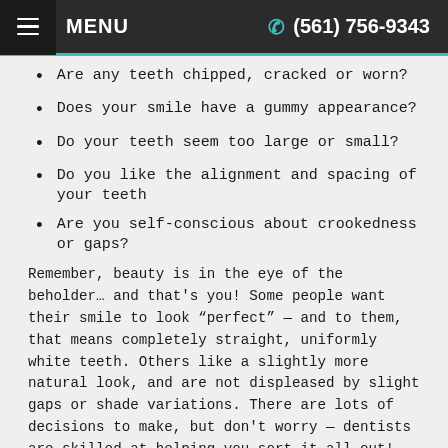MENU  (561) 756-9343
Are any teeth chipped, cracked or worn?
Does your smile have a gummy appearance?
Do your teeth seem too large or small?
Do you like the alignment and spacing of your teeth
Are you self-conscious about crookedness or gaps?
Remember, beauty is in the eye of the beholder… and that's you! Some people want their smile to look “perfect” — and to them, that means completely straight, uniformly white teeth. Others like a slightly more natural look, and are not displeased by slight gaps or shade variations. There are lots of decisions to make, but don't worry — dentists are skilled at helping you sort it all out!
[Figure (photo): Photo of people smiling outdoors, partially visible at bottom of page]